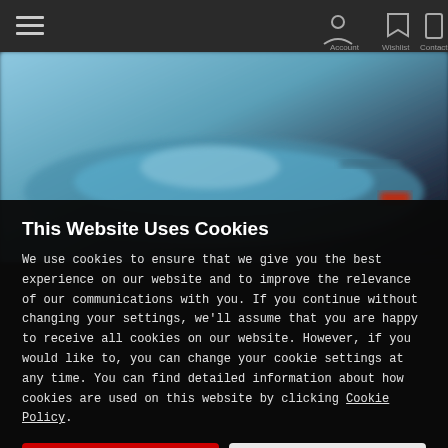[Figure (screenshot): Website navigation bar with hamburger menu icon on left, and three icon buttons (person, bookmark, phone) on the right side with labels]
[Figure (photo): Blurred background photo of a blue sports car]
This Website Uses Cookies
We use cookies to ensure that we give you the best experience on our website and to improve the relevance of our communications with you. If you continue without changing your settings, we'll assume that you are happy to receive all cookies on our website. However, if you would like to, you can change your cookie settings at any time. You can find detailed information about how cookies are used on this website by clicking Cookie Policy.
Ok
Cookie Policy